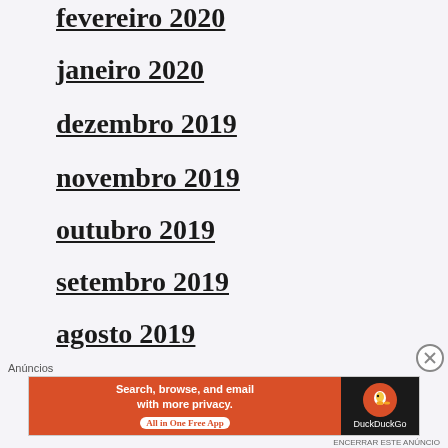fevereiro 2020
janeiro 2020
dezembro 2019
novembro 2019
outubro 2019
setembro 2019
agosto 2019
julho 2019
[Figure (screenshot): DuckDuckGo advertisement banner: Search, browse, and email with more privacy. All in One Free App.]